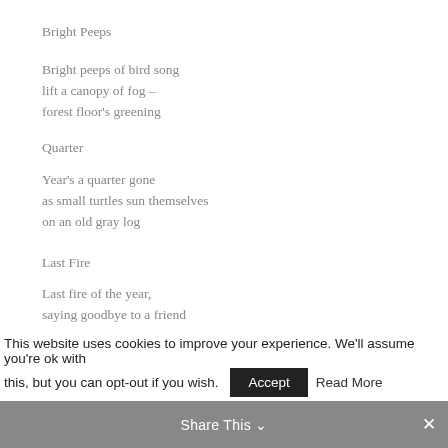Bright Peeps
Bright peeps of bird song
lift a canopy of fog –
forest floor's greening
Quarter
Year's a quarter gone
as small turtles sun themselves
on an old gray log
Last Fire
Last fire of the year,
saying goodbye to a friend
never without cheer
Spring Snow
First azalea
had opened one yellow bloom
This website uses cookies to improve your experience. We'll assume you're ok with this, but you can opt-out if you wish.
Share This